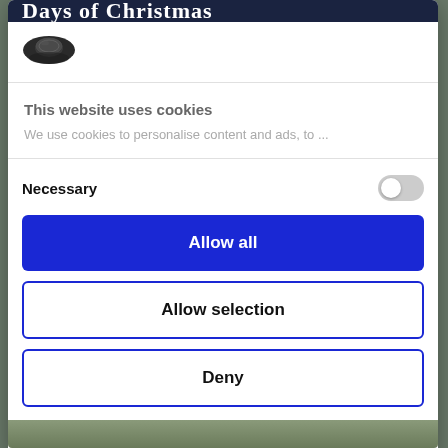Days of Christmas
[Figure (logo): Cookie/Cookiebot logo - dark oval with coin/cookie icon]
This website uses cookies
We use cookies to personalise content and ads, to ...
Necessary
Allow all
Allow selection
Deny
Powered by Cookiebot by Usercentrics